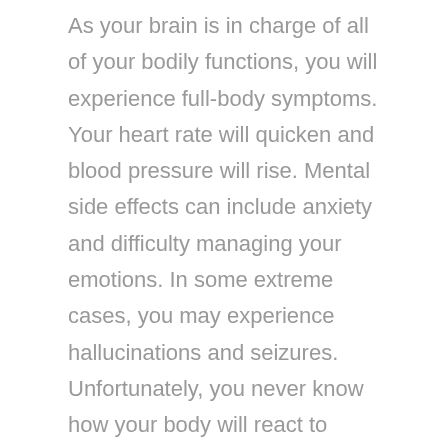As your brain is in charge of all of your bodily functions, you will experience full-body symptoms. Your heart rate will quicken and blood pressure will rise. Mental side effects can include anxiety and difficulty managing your emotions. In some extreme cases, you may experience hallucinations and seizures. Unfortunately, you never know how your body will react to withdrawal which is why you may need to consider staying at a rehabilitation center as your body and brain detoxes. Opioid addiction can be difficult to kick, especially if you originally used the drugs to control chronic pain. We aim to help you through the process with a plan tailored to you and your needs. When you are ready to take the next steps in your recovery process, contact us and our staff can talk you